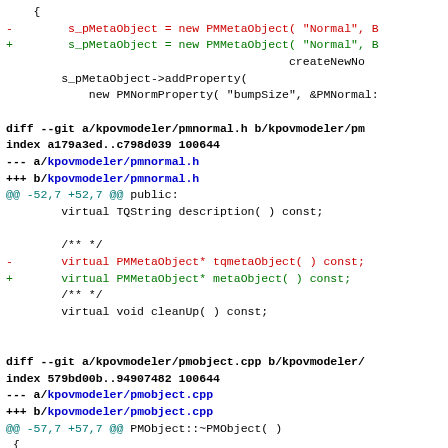Code diff showing changes to kpovmodeler files pmnormal.h and pmobject.cpp, including renaming of tqmetaObject to metaObject and tqObject references.